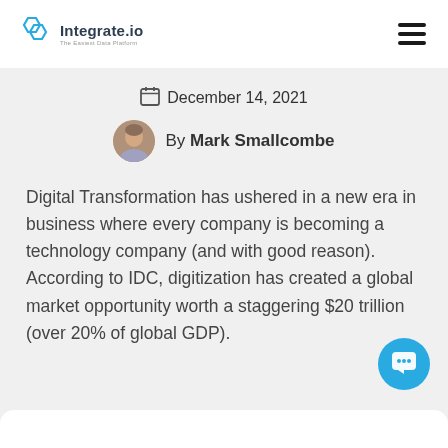Integrate.io — The Easiest Data Platform
December 14, 2021
By Mark Smallcombe
Digital Transformation has ushered in a new era in business where every company is becoming a technology company (and with good reason). According to IDC, digitization has created a global market opportunity worth a staggering $20 trillion (over 20% of global GDP).